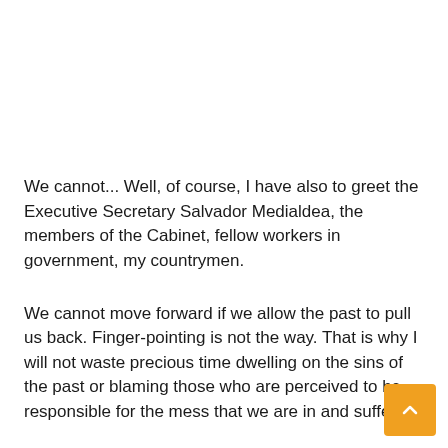We cannot... Well, of course, I have also to greet the Executive Secretary Salvador Medialdea, the members of the Cabinet, fellow workers in government, my countrymen.
We cannot move forward if we allow the past to pull us back. Finger-pointing is not the way. That is why I will not waste precious time dwelling on the sins of the past or blaming those who are perceived to be responsible for the mess that we are in and suffering